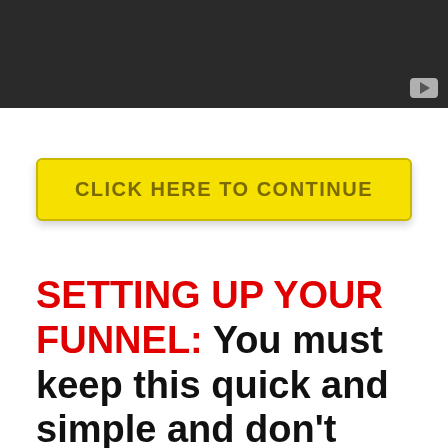[Figure (screenshot): Dark video player thumbnail with YouTube play icon in bottom right corner]
CLICK HERE TO CONTINUE
SETTING UP YOUR FUNNEL: You must keep this quick and simple and don't